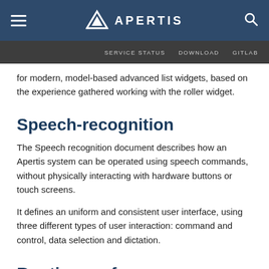APERTIS — SERVICE STATUS  DOWNLOAD  GITLAB
for modern, model-based advanced list widgets, based on the experience gathered working with the roller widget.
Speech-recognition
The Speech recognition document describes how an Apertis system can be operated using speech commands, without physically interacting with hardware buttons or touch screens.
It defines an uniform and consistent user interface, using three different types of user interaction: command and control, data selection and dictation.
Routing preferences handling in